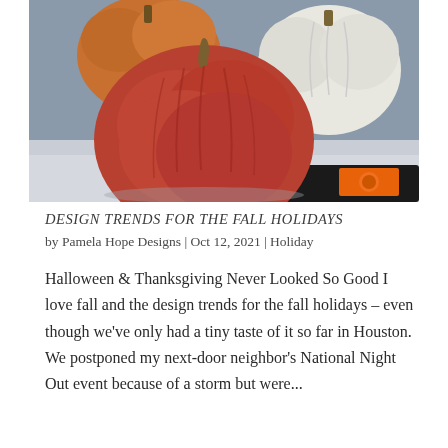[Figure (photo): Photo of decorative pumpkins on a reflective surface: a large reddish-pink ribbed pumpkin in the center-left, a smaller orange pumpkin behind it on the upper left, and a white pumpkin on the upper right. A black tray with an orange label is visible at the bottom right.]
DESIGN TRENDS FOR THE FALL HOLIDAYS
by Pamela Hope Designs | Oct 12, 2021 | Holiday
Halloween & Thanksgiving Never Looked So Good I love fall and the design trends for the fall holidays – even though we've only had a tiny taste of it so far in Houston. We postponed my next-door neighbor's National Night Out event because of a storm but were...